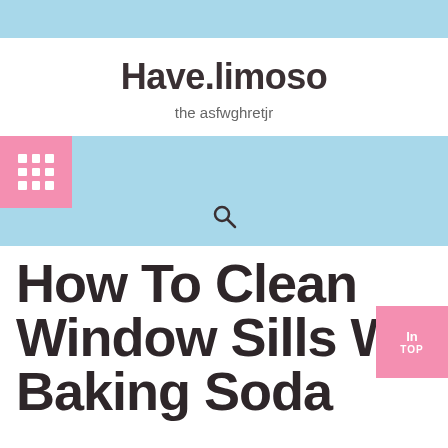Have.limoso
the asfwghretjr
[Figure (other): Navigation bar with pink grid icon on left and search magnifier icon centered below]
How To Clean Window Sills With Baking Soda